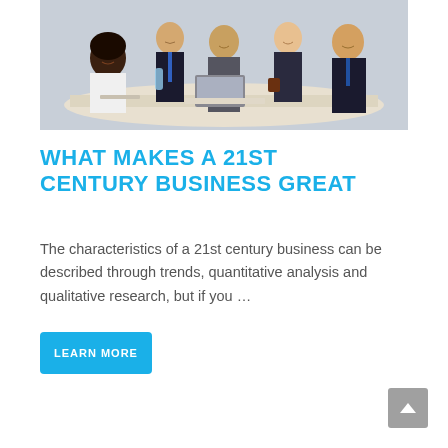[Figure (photo): Group of business professionals in formal attire seated and standing around a conference table with a laptop, water bottle, and papers. They are smiling and appear to be in a meeting.]
WHAT MAKES A 21ST CENTURY BUSINESS GREAT
The characteristics of a 21st century business can be described through trends, quantitative analysis and qualitative research, but if you …
LEARN MORE